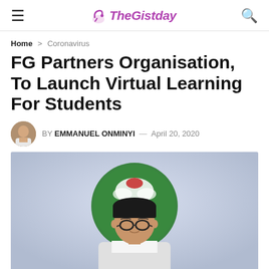TheGistday
Home > Coronavirus
FG Partners Organisation, To Launch Virtual Learning For Students
BY EMMANUEL ONMINYI — April 20, 2020
[Figure (photo): A man wearing a black cap and glasses, with the Nigerian coat of arms emblem visible in the background on a light blue/grey background.]